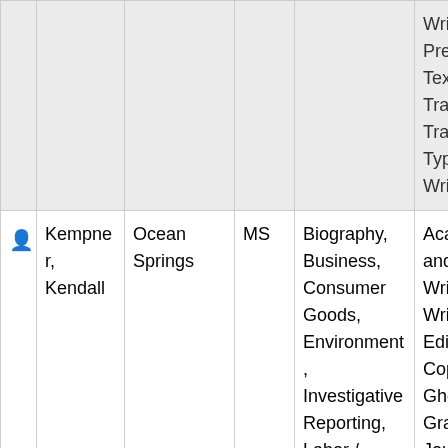|  | Name | City | State | Topics | Services |
| --- | --- | --- | --- | --- | --- |
|  |  |  |  |  | Writin...
Prepa...
Textbo...
Transc...
Transla...
Types...
Writin... |
| 👤 | Kempner, Kendall | Ocean Springs | MS | Biography, Business, Consumer Goods, Environment, Investigative Reporting, Labor / Workers Issues, | Acade... and E...
Writin...
Writin...
Editin...
Copyw...
Ghost...
Grant...
Journa...
Writin... |